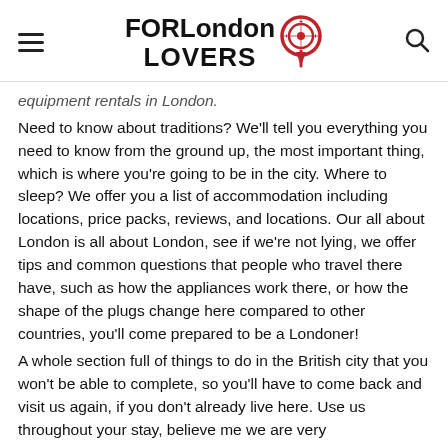FOR London LOVERS [logo with pin icon and search icon]
equipment rentals in London.
Need to know about traditions? We'll tell you everything you need to know from the ground up, the most important thing, which is where you're going to be in the city. Where to sleep? We offer you a list of accommodation including locations, price packs, reviews, and locations. Our all about London is all about London, see if we're not lying, we offer tips and common questions that people who travel there have, such as how the appliances work there, or how the shape of the plugs change here compared to other countries, you'll come prepared to be a Londoner!
A whole section full of things to do in the British city that you won't be able to complete, so you'll have to come back and visit us again, if you don't already live here. Use us throughout your stay, believe me we are very